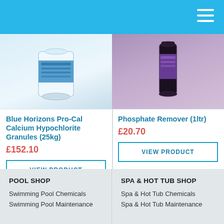[Figure (photo): Blue Horizons Pro-Cal Calcium Hypochlorite Granules 25kg product container — white tub with blue label]
Blue Horizons Pro-Cal Calcium Hypochlorite Granules (25kg)
£152.10
VIEW PRODUCT
[Figure (photo): Phosphate Remover 1ltr product bottle — dark container with purple label]
Phosphate Remover (1ltr)
£20.70
VIEW PRODUCT
POOL SHOP
Swimming Pool Chemicals
Swimming Pool Maintenance
SPA & HOT TUB SHOP
Spa & Hot Tub Chemicals
Spa & Hot Tub Maintenance